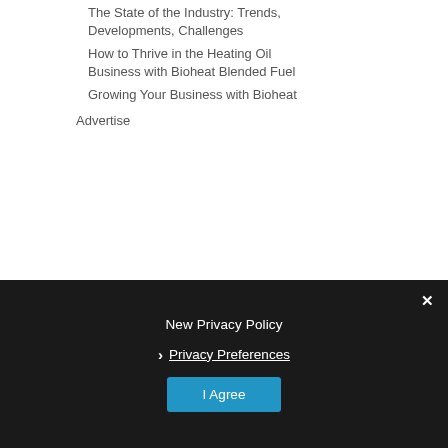The State of the Industry: Trends, Developments, Challenges
How to Thrive in the Heating Oil Business with Bioheat Blended Fuel
Growing Your Business with Bioheat
Advertise
New Privacy Policy
Privacy Preferences
I Agree